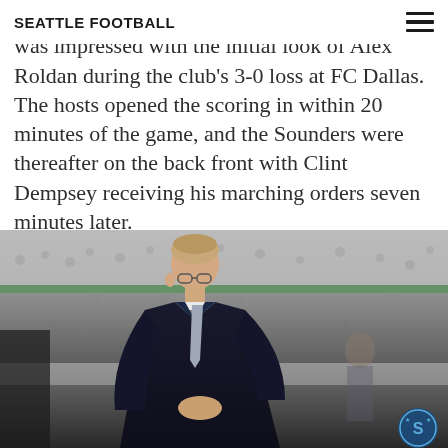SEATTLE FOOTBALL
Seattle Sounders head coach Brian Schmetzer was impressed with the initial look of Alex Roldan during the club's 3-0 loss at FC Dallas. The hosts opened the scoring in within 20 minutes of the game, and the Sounders were thereafter on the back front with Clint Dempsey receiving his marching orders seven minutes later.
[Figure (photo): Photo of Seattle Sounders head coach Brian Schmetzer standing on the sideline in a dark suit and tie, with a blurred stadium crowd in the background. A Seattle Sounders FC badge/logo is visible in the bottom-right corner of the image.]